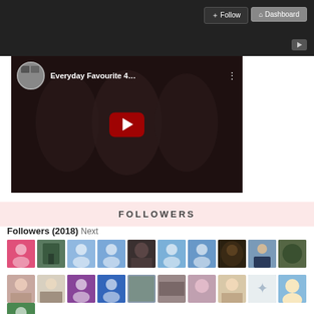[Figure (screenshot): Dark video strip at top with Follow and Dashboard buttons]
[Figure (screenshot): Embedded YouTube video player showing 'Everyday Favourite 4...' with three women in hijabs and YouTube play button]
FOLLOWERS
Followers (2018) Next
[Figure (screenshot): Grid of follower avatar thumbnails - row 1: pink avatar, green door photo, light blue avatar, blue avatar, person photo, blue avatar, blue avatar, hair photo, suited man photo, nature photo]
[Figure (screenshot): Grid of follower avatar thumbnails - row 2: girl photo, woman in hijab photo, purple avatar, blue avatar, outdoor photo, group photo, pink-toned photo, blonde woman photo, bird icon, cartoon Alice avatar]
[Figure (screenshot): Partial row 3 of follower avatars - green avatar visible]